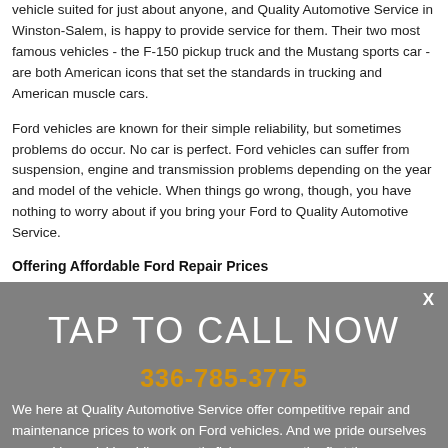vehicle suited for just about anyone, and Quality Automotive Service in Winston-Salem, is happy to provide service for them. Their two most famous vehicles - the F-150 pickup truck and the Mustang sports car - are both American icons that set the standards in trucking and American muscle cars.
Ford vehicles are known for their simple reliability, but sometimes problems do occur. No car is perfect. Ford vehicles can suffer from suspension, engine and transmission problems depending on the year and model of the vehicle. When things go wrong, though, you have nothing to worry about if you bring your Ford to Quality Automotive Service.
Offering Affordable Ford Repair Prices
[Figure (other): Gray overlay popup with TAP TO CALL NOW heading, phone number 336-785-3775 in orange, close X button, and partially visible body text about Quality Automotive Service competitive repair prices.]
We here at Quality Automotive Service offer competitive repair and maintenance prices to work on Ford vehicles. And we pride ourselves on working quickly while correctly fixing your car the first time so you can get on your way. If you'd like to schedule an appointment, you can